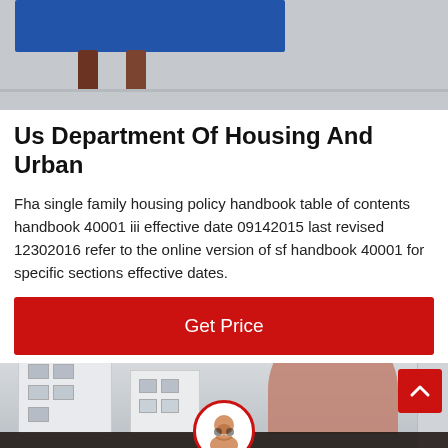[Figure (photo): Top portion of a photo showing what appears to be a bed or furniture with dark wooden legs on a light floor surface]
Us Department Of Housing And Urban
Fha single family housing policy handbook table of contents handbook 40001 iii effective date 09142015 last revised 12302016 refer to the online version of sf handbook 40001 for specific sections effective dates.
Get Price
[Figure (photo): Bottom section showing a building exterior and a person silhouette, with a Leave Message and Chat Online bar at the bottom, a back-to-top button, and a customer service agent icon]